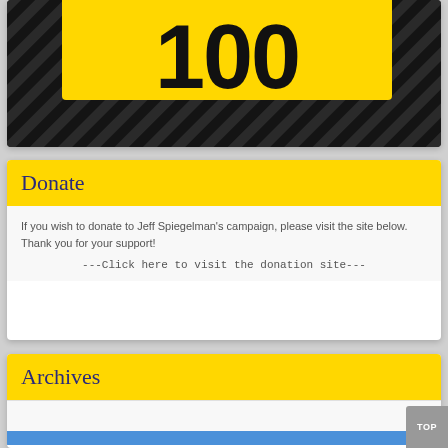[Figure (illustration): Black diagonal striped background with a yellow rectangle containing large bold black text '100' (partially cropped at top)]
Donate
If you wish to donate to Jeff Spiegelman's campaign, please visit the site below. Thank you for your support!
---Click here to visit the donation site---
Archives